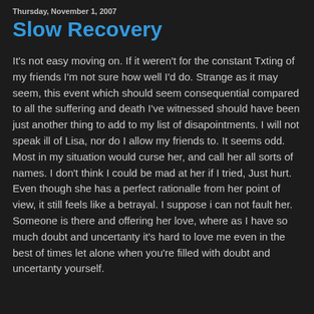Thursday, November 1, 2007
Slow Recovery
It's not easy moving on. If it weren't for the constant Txting of my friends I'm not sure how well I'd do. Strange as it may seem, this event which should seem consequential compared to all the suffering and death I've witnessed should have been just another thing to add to my list of disapointments. I will not speak ill of Lisa, nor do I allow my friends to. It seems odd. Most in my situation would curse her, and call her all sorts of names. I don't think I could be mad at her if I tried, Just hurt. Even though she has a perfect rationalle from her point of view, it still feels like a betrayal. I suppose i can not fault her. Someone is there and offering her love, where as I have so much doubt and uncertanty it's hard to love me even in the best of times let alone when you're filled with doubt and uncertanty yourself.